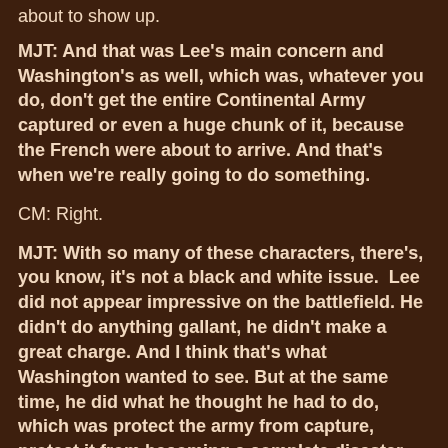about to show up.
MJT: And that was Lee's main concern and Washington's as well, which was, whatever you do, don't get the entire Continental Army captured or even a huge chunk of it, because the French were about to arrive. And that's when we're really going to do something.
CM: Right.
MJT: With so many of these characters, there's, you know, it's not a black and white issue.  Lee did not appear impressive on the battlefield. He didn't do anything gallant, he didn't make a great charge. And I think that's what Washington wanted to see. But at the same time, he did what he thought he had to do, which was protect the army from capture, protect it from becoming a complete disaster. And in that sense, I think he did what he needed to do that day.
CM: Yeah, he might have done a charge if Scott and Maxwell had held their ground. That's where he was going